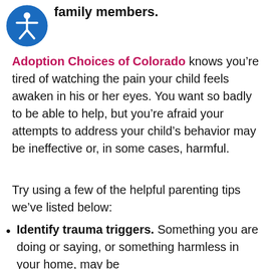family members.
[Figure (illustration): Blue circle accessibility icon with a white stick figure person with arms outstretched]
Adoption Choices of Colorado knows you're tired of watching the pain your child feels awaken in his or her eyes. You want so badly to be able to help, but you're afraid your attempts to address your child's behavior may be ineffective or, in some cases, harmful.
Try using a few of the helpful parenting tips we've listed below:
Identify trauma triggers. Something you are doing or saying, or something harmless in your home, may be